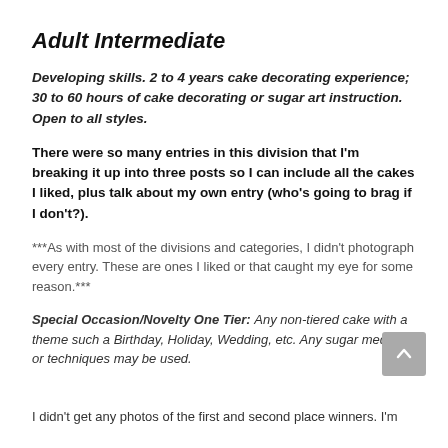Adult Intermediate
Developing skills. 2 to 4 years cake decorating experience; 30 to 60 hours of cake decorating or sugar art instruction. Open to all styles.
There were so many entries in this division that I'm breaking it up into three posts so I can include all the cakes I liked, plus talk about my own entry (who's going to brag if I don't?).
***As with most of the divisions and categories, I didn't photograph every entry. These are ones I liked or that caught my eye for some reason.***
Special Occasion/Novelty One Tier: Any non-tiered cake with a theme such a Birthday, Holiday, Wedding, etc. Any sugar mediums or techniques may be used.
I didn't get any photos of the first and second place winners. I'm